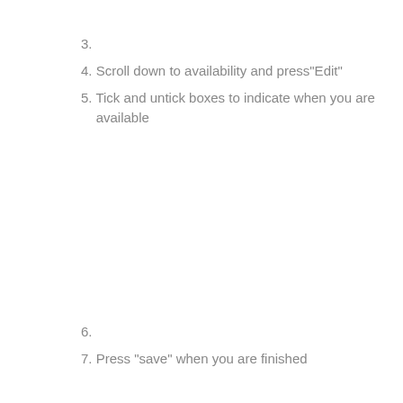3.
4. Scroll down to availability and press"Edit"
5. Tick and untick boxes to indicate when you are available
6.
7. Press "save" when you are finished